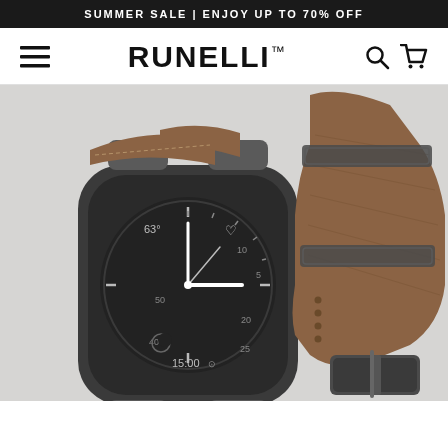SUMMER SALE | ENJOY UP TO 70% OFF
RUNELLI
[Figure (photo): Apple Watch with brown leather band by Runelli, showing watch face with time 15:00 and analog clock display, paired with a detailed view of the leather strap with buckle on the right side]